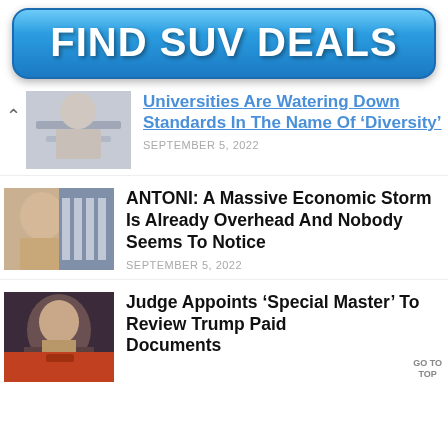[Figure (other): Blue rounded rectangle advertisement banner with bold white text reading FIND SUV DEALS]
Universities Are Watering Down Standards In The Name Of ‘Diversity’ — SEPTEMBER 5, 2022
ANTONI: A Massive Economic Storm Is Already Overhead And Nobody Seems To Notice — SEPTEMBER 5, 2022
Judge Appoints ‘Special Master’ To Review Trump Paid Documents